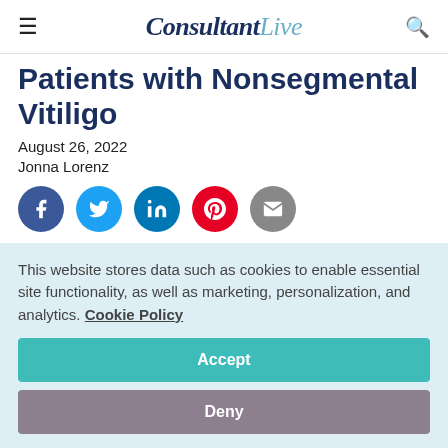ConsultantLive
Patients with Nonsegmental Vitiligo
August 26, 2022
Jonna Lorenz
[Figure (illustration): Social media share buttons: Facebook, Twitter, LinkedIn, Pinterest, Email]
Nonsegmental vitiligo not only affects the skin but can
This website stores data such as cookies to enable essential site functionality, as well as marketing, personalization, and analytics. Cookie Policy
Accept
Deny